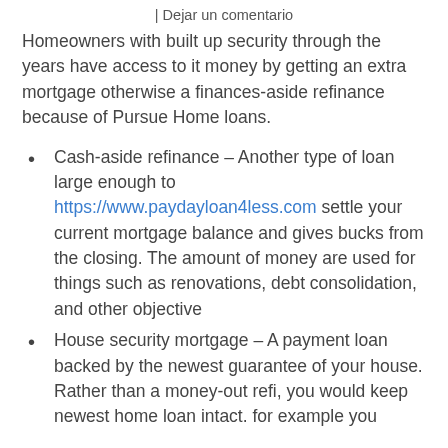| Dejar un comentario
Homeowners with built up security through the years have access to it money by getting an extra mortgage otherwise a finances-aside refinance because of Pursue Home loans.
Cash-aside refinance – Another type of loan large enough to https://www.paydayloan4less.com settle your current mortgage balance and gives bucks from the closing. The amount of money are used for things such as renovations, debt consolidation, and other objective
House security mortgage – A payment loan backed by the newest guarantee of your house. Rather than a money-out refi, you would keep newest home loan intact. for example you